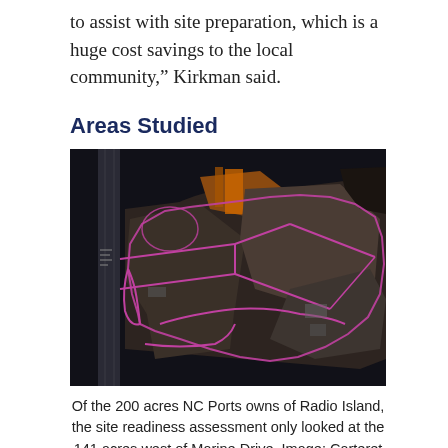to assist with site preparation, which is a huge cost savings to the local community,” Kirkman said.
Areas Studied
[Figure (photo): Aerial satellite view of Radio Island showing purple-outlined property boundaries across approximately 200 acres, with water surrounding the island and various land features visible from above.]
Of the 200 acres NC Ports owns of Radio Island, the site readiness assessment only looked at the 141 acres west of Marine Drive. Image: Carteret County